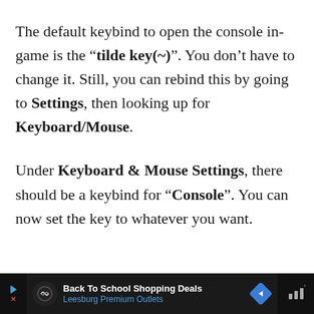The default keybind to open the console in-game is the "tilde key(~)". You don't have to change it. Still, you can rebind this by going to Settings, then looking up for Keyboard/Mouse.
Under Keyboard & Mouse Settings, there should be a keybind for "Console". You can now set the key to whatever you want.
[Figure (other): Advertisement banner: Back To School Shopping Deals, Leesburg Premium Outlets, with navigation icons]